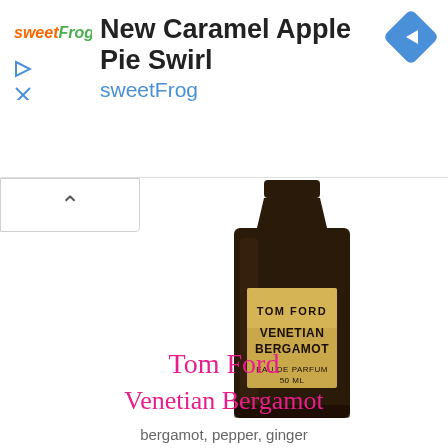[Figure (screenshot): Advertisement banner for sweetFrog showing 'New Caramel Apple Pie Swirl' with sweetFrog logo, play/close icons, and a blue diamond navigation arrow]
[Figure (photo): Tom Ford Venetian Bergamot Eau de Parfum 50ml bottle — dark brown/black glass bottle with gold rectangular label showing TOM FORD VENETIAN BERGAMOT EAU DE PARFUM 50 ML]
Tom Ford
Venetian Bergamot
bergamot, pepper, ginger
eau de parfum 1.7 oz. $229